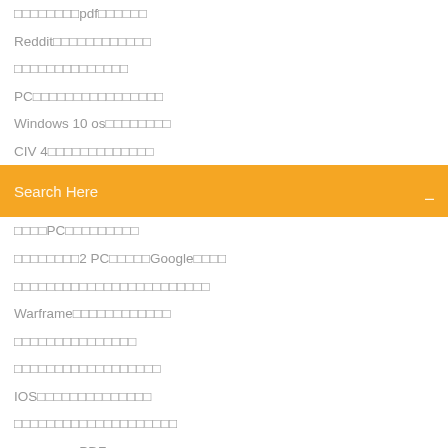pdf
Reddit
PC
Windows 10 os
CIV 4
[Figure (screenshot): Orange search bar with text 'Search Here' and a search icon on the right]
PC
2 PC　　　　Google
Warframe
IOS
PDF
PDF
Minecraft Free 1.12